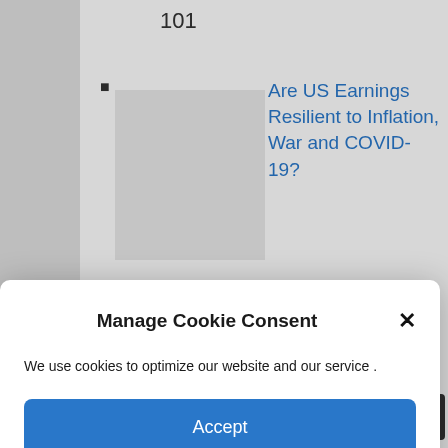101
Are US Earnings Resilient to Inflation, War and COVID-19?
Put EUR/USD Weakness into Perspective
Markets The ECB on Thursday last
Manage Cookie Consent
We use cookies to optimize our website and our service .
Accept
Cookie Policy